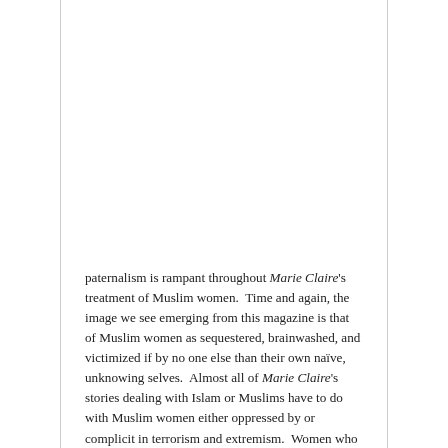paternalism is rampant throughout Marie Claire's treatment of Muslim women. Time and again, the image we see emerging from this magazine is that of Muslim women as sequestered, brainwashed, and victimized if by no one else than their own naïve, unknowing selves. Almost all of Marie Claire's stories dealing with Islam or Muslims have to do with Muslim women either oppressed by or complicit in terrorism and extremism. Women who choose to embrace Islam are belittled, and Islam, in the process, is portrayed as attractive to only